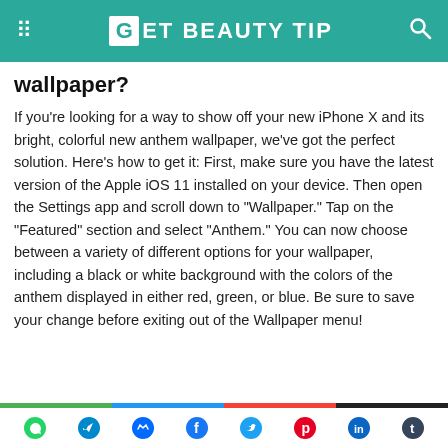GET BEAUTY TIP
wallpaper?
If you're looking for a way to show off your new iPhone X and its bright, colorful new anthem wallpaper, we've got the perfect solution. Here's how to get it: First, make sure you have the latest version of the Apple iOS 11 installed on your device. Then open the Settings app and scroll down to "Wallpaper." Tap on the "Featured" section and select "Anthem." You can now choose between a variety of different options for your wallpaper, including a black or white background with the colors of the anthem displayed in either red, green, or blue. Be sure to save your change before exiting out of the Wallpaper menu!
Social share icons: WhatsApp, Telegram, Messenger, Facebook, Twitter, Pinterest, LinkedIn, Tumblr